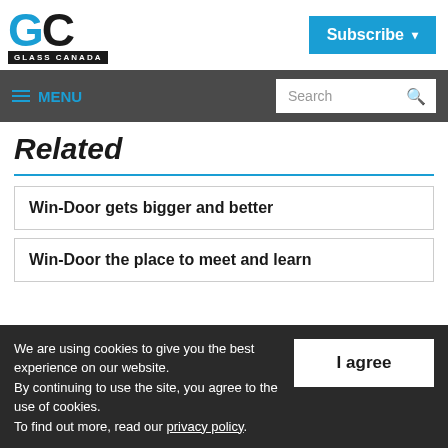Glass Canada | Subscribe
≡ MENU
Related
Win-Door gets bigger and better
Win-Door the place to meet and learn
We are using cookies to give you the best experience on our website. By continuing to use the site, you agree to the use of cookies. To find out more, read our privacy policy.